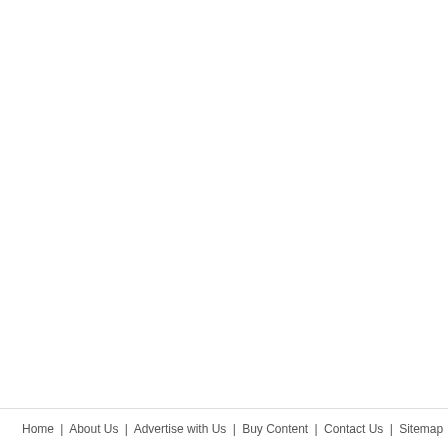[Figure (photo): Partially visible card with a person photo and text: Ru... Dr... Ch...]
[Figure (screenshot): Noise11 show sidebar panel with logo, concert photos grid. Richard Clapton, Th..., Russell Morris – Van Diemen's Land, Co... No...]
Richard Clapton
Russell Morris – Van Diemen's Land
Home | About Us | Advertise with Us | Buy Content | Contact Us | Sitemap | Discla...